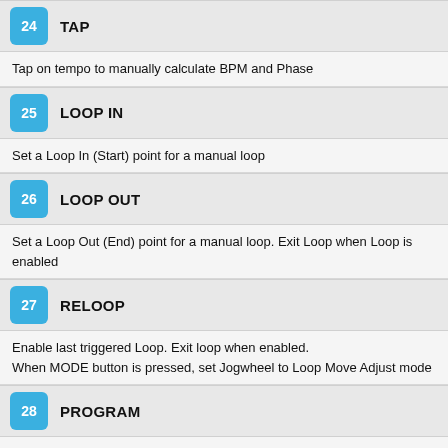24 TAP
Tap on tempo to manually calculate BPM and Phase
25 LOOP IN
Set a Loop In (Start) point for a manual loop
26 LOOP OUT
Set a Loop Out (End) point for a manual loop. Exit Loop when Loop is enabled
27 RELOOP
Enable last triggered Loop. Exit loop when enabled.
When MODE button is pressed, set Jogwheel to Loop Move Adjust mode
28 PROGRAM
Not used